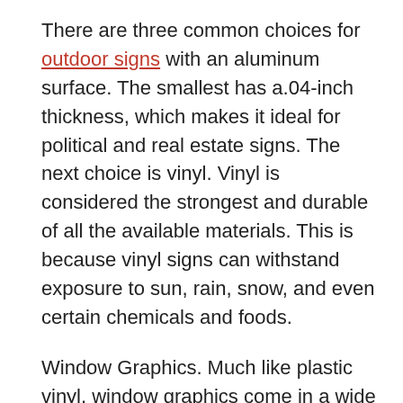There are three common choices for outdoor signs with an aluminum surface. The smallest has a.04-inch thickness, which makes it ideal for political and real estate signs. The next choice is vinyl. Vinyl is considered the strongest and durable of all the available materials. This is because vinyl signs can withstand exposure to sun, rain, snow, and even certain chemicals and foods.
Window Graphics. Much like plastic vinyl, window graphics come in a wide variety of colors and sizes. There is also a large selection of window signs made from vinyl banners, vinyl letters, and window clings. Window graphics are the most versatile type of outdoor signs available and sign companies can create custom window clings and vinyl banners to